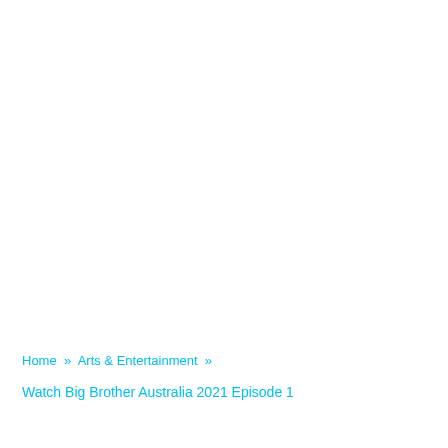Home » Arts & Entertainment »
Watch Big Brother Australia 2021 Episode 1